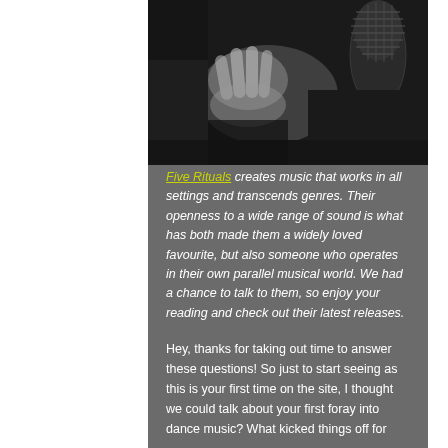[Figure (photo): Black and white photo showing hands near a microphone, dark moody lighting]
Five Rituals creates music that works in all settings and transcends genres. Their openness to a wide range of sound is what has both made them a widely loved favourite, but also someone who operates in their own parallel musical world. We had a chance to talk to them, so enjoy your reading and check out their latest releases.
Hey, thanks for taking out time to answer these questions! So just to start seeing as this is your first time on the site, I thought we could talk about your first foray into dance music? What kicked things off for